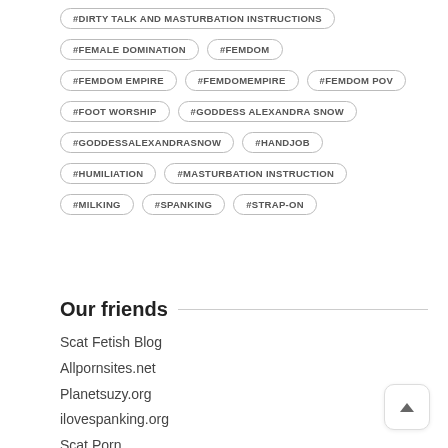#DIRTY TALK AND MASTURBATION INSTRUCTIONS
#FEMALE DOMINATION, #FEMDOM
#FEMDOM EMPIRE, #FEMDOMEMPIRE, #FEMDOM POV
#FOOT WORSHIP, #GODDESS ALEXANDRA SNOW
#GODDESSALEXANDRASNOW, #HANDJOB
#HUMILIATION, #MASTURBATION INSTRUCTION
#MILKING, #SPANKING, #STRAP-ON
Our friends
Scat Fetish Blog
Allpornsites.net
Planetsuzy.org
ilovespanking.org
Scat Porn